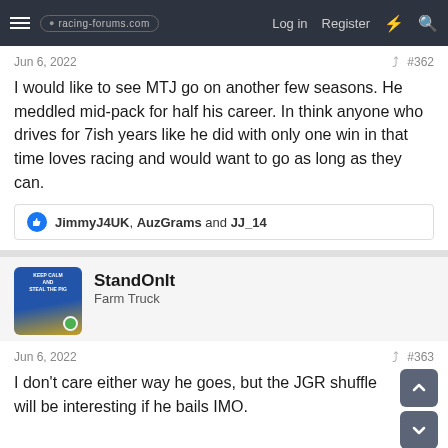racing-forums.com | Log in | Register
Jun 6, 2022  #362
I would like to see MTJ go on another few seasons. He meddled mid-pack for half his career. In think anyone who drives for 7ish years like he did with only one win in that time loves racing and would want to go as long as they can.
JimmyJ4UK, AuzGrams and JJ_14
StandOnIt
Farm Truck
Jun 6, 2022  #363
I don't care either way he goes, but the JGR shuffle will be interesting if he bails IMO.
Charlie Spencer